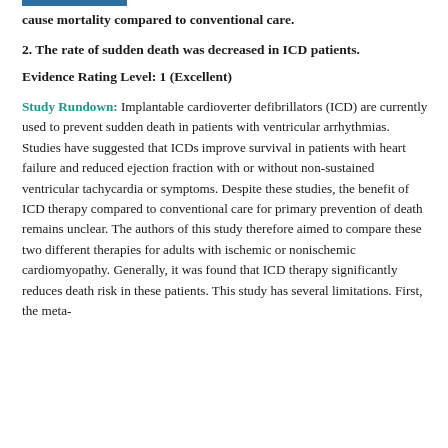cause mortality compared to conventional care.
2. The rate of sudden death was decreased in ICD patients.
Evidence Rating Level: 1 (Excellent)
Study Rundown: Implantable cardioverter defibrillators (ICD) are currently used to prevent sudden death in patients with ventricular arrhythmias. Studies have suggested that ICDs improve survival in patients with heart failure and reduced ejection fraction with or without non-sustained ventricular tachycardia or symptoms. Despite these studies, the benefit of ICD therapy compared to conventional care for primary prevention of death remains unclear. The authors of this study therefore aimed to compare these two different therapies for adults with ischemic or nonischemic cardiomyopathy. Generally, it was found that ICD therapy significantly reduces death risk in these patients. This study has several limitations. First, the meta-